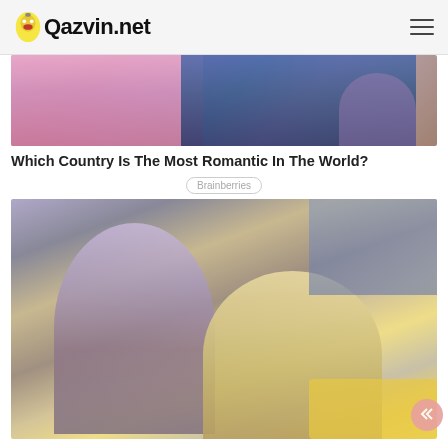Qazvin.net
[Figure (photo): Couple in pink and navy shirts embracing near a tree]
Which Country Is The Most Romantic In The World?
Brainberries
[Figure (photo): Man and woman in romantic movie scene, man holding woman's face]
Sometimes First Impressions Are Terrible: